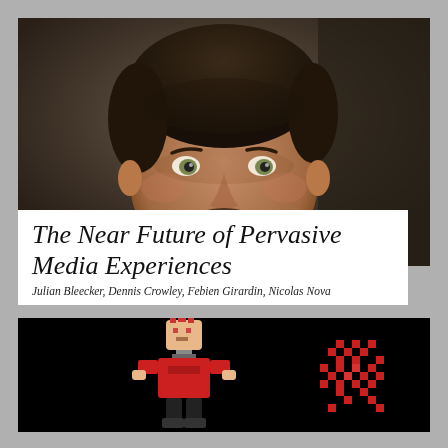[Figure (photo): Close-up portrait photo of a smiling man with dark curly hair, a goatee, and light eyes, wearing a blue-grey shirt, photographed against a dark background.]
The Near Future of Pervasive Media Experiences
Julian Bleecker, Dennis Crowley, Febien Girardin, Nicolas Nova
[Figure (illustration): Dark/black background image showing a pixelated cartoon character — a small figure in a red outfit with a round face — and a separate pixelated red symbol or icon to the right, both rendered in a retro pixel-art style.]